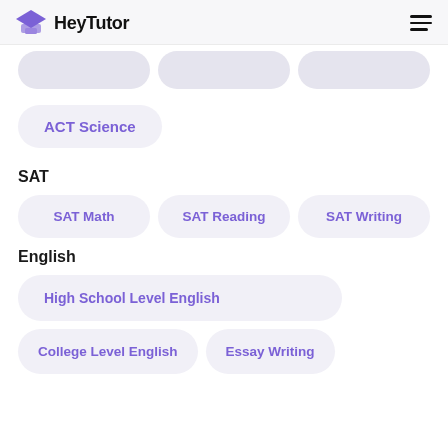HeyTutor
ACT Science
SAT
SAT Math
SAT Reading
SAT Writing
English
High School Level English
College Level English
Essay Writing